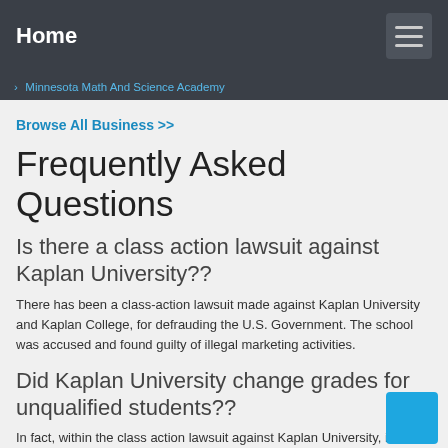Home
› Minnesota Math And Science Academy
Browse All Business >>
Frequently Asked Questions
Is there a class action lawsuit against Kaplan University??
There has been a class-action lawsuit made against Kaplan University and Kaplan College, for defrauding the U.S. Government. The school was accused and found guilty of illegal marketing activities.
Did Kaplan University change grades for unqualified students??
In fact, within the class action lawsuit against Kaplan University, it was found that the company involved hiring